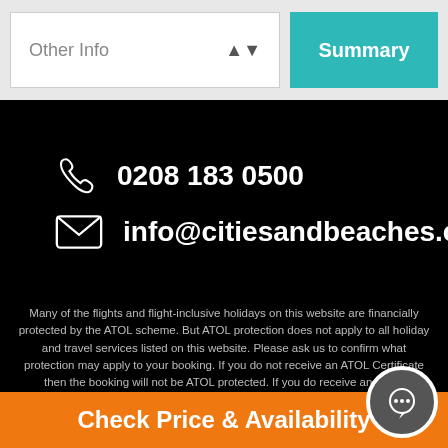Other Info
Summary
0208 183 0500
info@citiesandbeaches.com
Many of the flights and flight-inclusive holidays on this website are financially protected by the ATOL scheme. But ATOL protection does not apply to all holiday and travel services listed on this website. Please ask us to confirm what protection may apply to your booking. If you do not receive an ATOL Certificate then the booking will not be ATOL protected. If you do receive an ATOL Certificate but all the parts of your trip are not listed on it, those parts will not be ATOL protected. Please see our booking conditions for information for more information about financial protection and the ATOL Certif...
Check Price & Availability